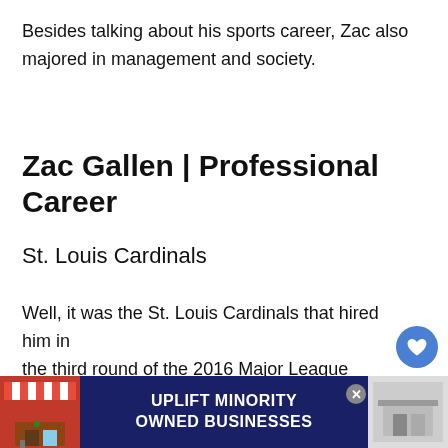Besides talking about his sports career, Zac also majored in management and society.
Zac Gallen | Professional Career
St. Louis Cardinals
Well, it was the St. Louis Cardinals that hired him in the third round of the 2016 Major League Baseball draft.
Zac started with the Palm Beach Cardinals and was later upgraded to the Springfield Cardinals and M...